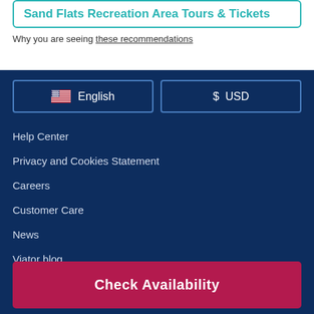Sand Flats Recreation Area Tours & Tickets
Why you are seeing these recommendations
English
$ USD
Help Center
Privacy and Cookies Statement
Careers
Customer Care
News
Viator blog
Check Availability